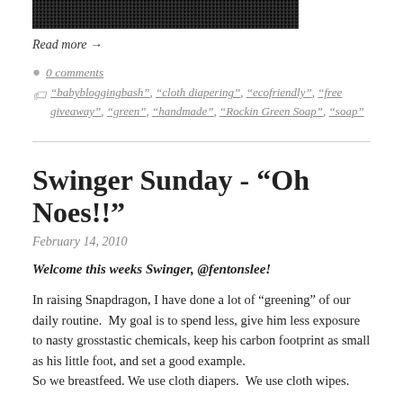[Figure (photo): Partial image at top of page, dark/black banner-like image]
Read more →
0 comments
"babybloggingbash", "cloth diapering", "ecofriendly", "free giveaway", "green", "handmade", "Rockin Green Soap", "soap"
Swinger Sunday - "Oh Noes!!"
February 14, 2010
Welcome this weeks Swinger, @fentonslee!
In raising Snapdragon, I have done a lot of "greening" of our daily routine.  My goal is to spend less, give him less exposure to nasty grosstastic chemicals, keep his carbon footprint as small as his little foot, and set a good example.
So we breastfeed. We use cloth diapers.  We use cloth wipes.